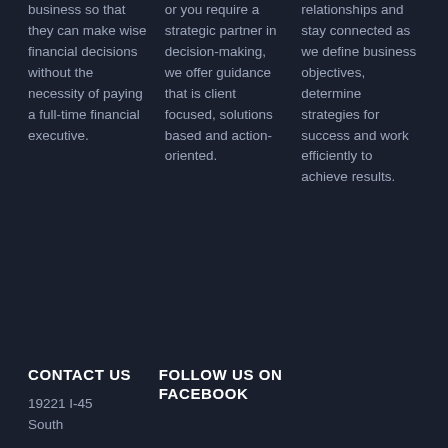business so that they can make wise financial decisions without the necessity of paying a full-time financial executive.
or you require a strategic partner in decision-making, we offer guidance that is client focused, solutions based and action-oriented.
relationships and stay connected as we define business objectives, determine strategies for success and work efficiently to achieve results.
CONTACT US
19221 I-45 South
FOLLOW US ON FACEBOOK